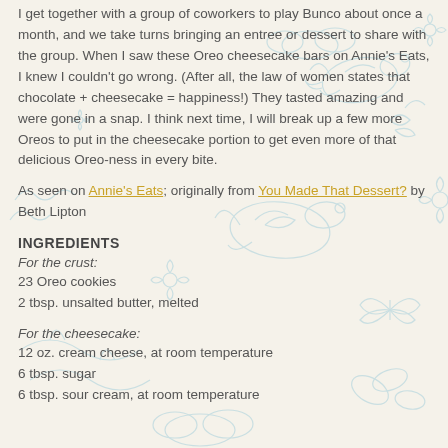I get together with a group of coworkers to play Bunco about once a month, and we take turns bringing an entree or dessert to share with the group.  When I saw these Oreo cheesecake bars on Annie's Eats, I knew I couldn't go wrong.  (After all, the law of women states that chocolate + cheesecake = happiness!)  They tasted amazing and were gone in a snap.  I think next time, I will break up a few more Oreos to put in the cheesecake portion to get even more of that delicious Oreo-ness in every bite.
As seen on Annie's Eats; originally from You Made That Dessert? by Beth Lipton
INGREDIENTS
For the crust:
23 Oreo cookies
2 tbsp. unsalted butter, melted
For the cheesecake:
12 oz. cream cheese, at room temperature
6 tbsp. sugar
6 tbsp. sour cream, at room temperature